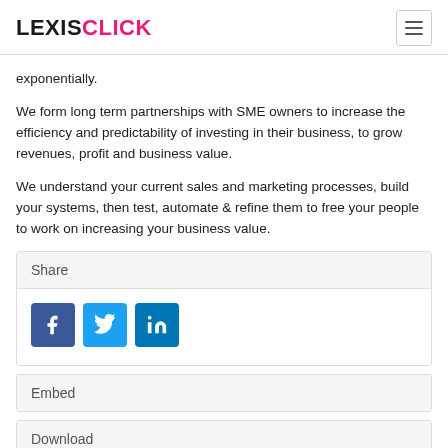LEXISCLICK
exponentially.
We form long term partnerships with SME owners to increase the efficiency and predictability of investing in their business, to grow revenues, profit and business value.
We understand your current sales and marketing processes, build your systems, then test, automate & refine them to free your people to work on increasing your business value.
Share
[Figure (infographic): Social share buttons: Facebook (blue square with f icon), Twitter (light blue square with bird icon), LinkedIn (dark blue square with in icon)]
Embed
Download